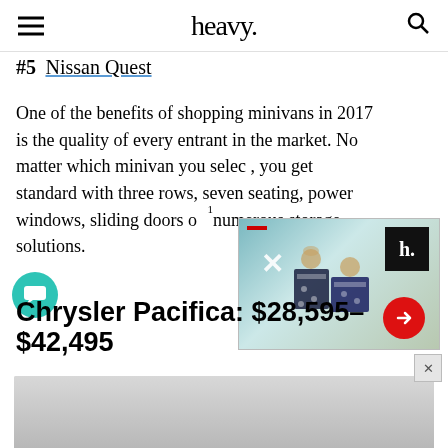heavy.
#5 Nissan Quest
One of the benefits of shopping minivans in 2017 is the quality of every entrant in the market. No matter which minivan you select, you get standard with three rows, seven seats, power windows, sliding doors or numerous storage solutions.
[Figure (screenshot): Advertisement overlay with close X button, heavy. logo badge, red arrow button, and gift boxes background image]
[Figure (logo): Chat bubble button icon (teal circular button with message icon)]
Chrysler Pacifica: $28,595–$42,495
[Figure (photo): Bottom strip showing partial car photo in gray tones]